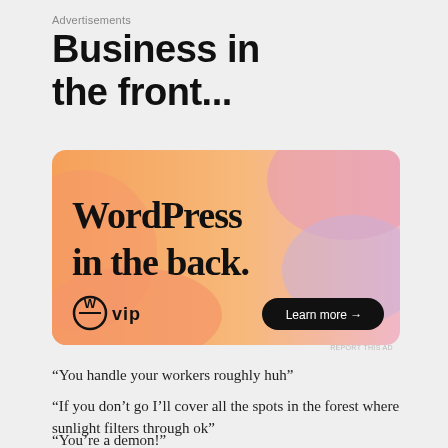Advertisements
Business in the front...
[Figure (illustration): WordPress VIP advertisement banner with orange-pink gradient background, large serif text reading 'WordPress in the back.', WordPress VIP logo bottom left, and a dark 'Learn more →' button on the bottom right.]
REPORT THIS AD
“You handle your workers roughly huh”
“If you don’t go I’ll cover all the spots in the forest where sunlight filters through ok”
“You’re a demon!”